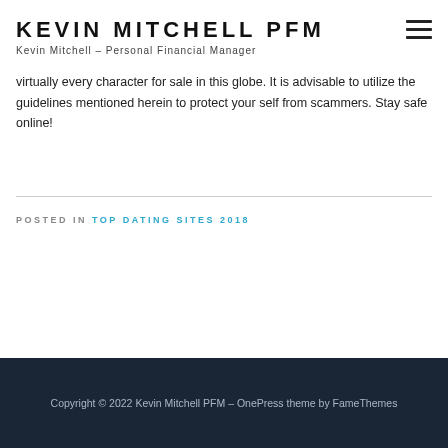KEVIN MITCHELL PFM
Kevin Mitchell – Personal Financial Manager
virtually every character for sale in this globe. It is advisable to utilize the guidelines mentioned herein to protect your self from scammers. Stay safe online!
POSTED IN TOP DATING SITES 2018
Copyright © 2022 Kevin Mitchell PFM – OnePress theme by FameThemes